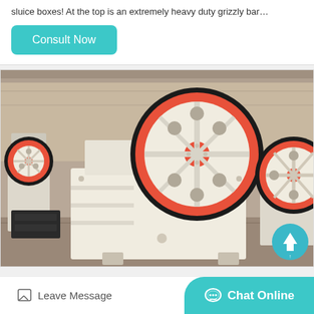sluice boxes! At the top is an extremely heavy duty grizzly bar…
[Figure (photo): Industrial jaw crusher machine with large red and black flywheel, cream/white body, photographed in a factory warehouse setting]
Leave Message
Chat Online